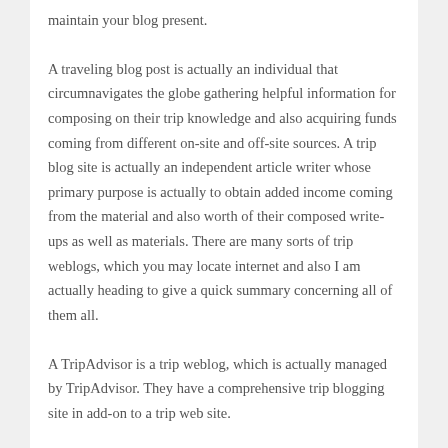maintain your blog present.
A traveling blog post is actually an individual that circumnavigates the globe gathering helpful information for composing on their trip knowledge and also acquiring funds coming from different on-site and off-site sources. A trip blog site is actually an independent article writer whose primary purpose is actually to obtain added income coming from the material and also worth of their composed write-ups as well as materials. There are many sorts of trip weblogs, which you may locate internet and also I am actually heading to give a quick summary concerning all of them all.
A TripAdvisor is a trip weblog, which is actually managed by TripAdvisor. They have a comprehensive trip blogging site in add-on to a trip web site.